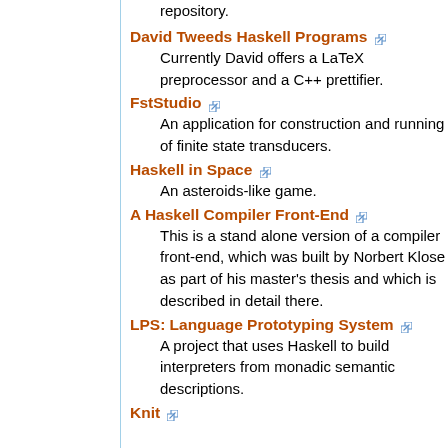repository.
David Tweeds Haskell Programs
Currently David offers a LaTeX preprocessor and a C++ prettifier.
FstStudio
An application for construction and running of finite state transducers.
Haskell in Space
An asteroids-like game.
A Haskell Compiler Front-End
This is a stand alone version of a compiler front-end, which was built by Norbert Klose as part of his master's thesis and which is described in detail there.
LPS: Language Prototyping System
A project that uses Haskell to build interpreters from monadic semantic descriptions.
Knit